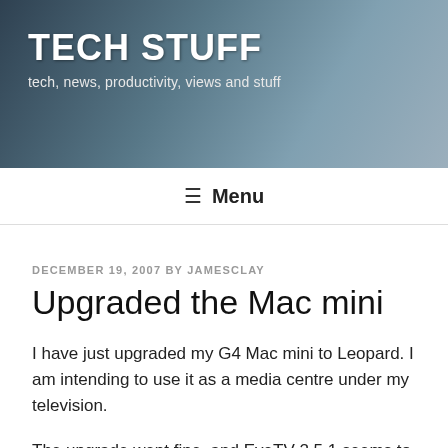[Figure (photo): Banner header image showing a close-up of a circuit board / USB device with dark blue-gray tones]
TECH STUFF
tech, news, productivity, views and stuff
≡ Menu
DECEMBER 19, 2007 BY JAMESCLAY
Upgraded the Mac mini
I have just upgraded my G4 Mac mini to Leopard. I am intending to use it as a media centre under my television.
The upgrade went fine, and EyeTV 2.5.1 seems to work just fine under Leopard.
I am running it (currently) without a keyboard or a mouse and of course being a G4 Mac mini it does not have an